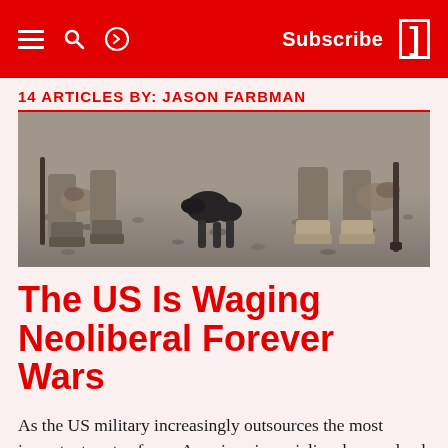Subscribe
14 ARTICLES BY: JASON FARBMAN
[Figure (photo): Black and white photograph showing military boots and soldiers' lower bodies/gear resting on gravel or rocky ground.]
The US Is Waging Neoliberal Forever Wars
As the US military increasingly outsources the most important parts of war, American imperialism has evolved into